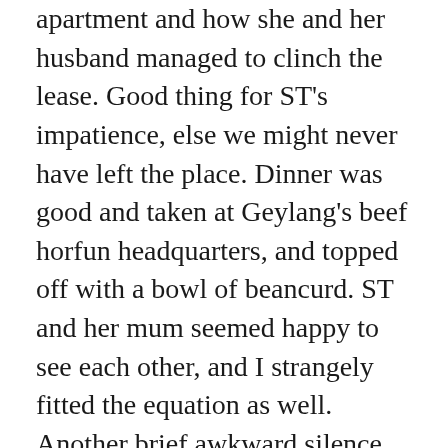apartment and how she and her husband managed to clinch the lease. Good thing for ST's impatience, else we might never have left the place. Dinner was good and taken at Geylang's beef horfun headquarters, and topped off with a bowl of beancurd. ST and her mum seemed happy to see each other, and I strangely fitted the equation as well. Another brief awkward silence was experienced only when ST's mum realised how old I was when we started sharing about how nice it was when Gluttons' Square was a permanent fixture, and how Centrepoint was only a Cold Storage supermarket with a Magnolia Milk Bar out front near the open carpark. Again, ST's impatience broke the silence with a 'Mum, he's nine years older than me'